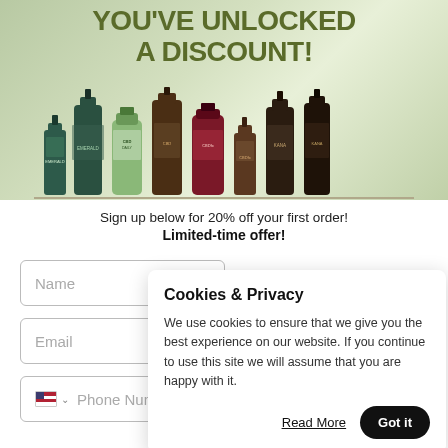[Figure (screenshot): Promotional banner with CBD/hemp beauty products and headline 'YOU'VE UNLOCKED A DISCOUNT!' on a green leafy background]
Sign up below for 20% off your first order!
Limited-time offer!
[Figure (screenshot): Cookie & Privacy popup overlay with title 'Cookies & Privacy', body text about cookie use, 'Read More' link and 'Got it' button]
Cookies & Privacy
We use cookies to ensure that we give you the best experience on our website. If you continue to use this site we will assume that you are happy with it.
Read More
Got it